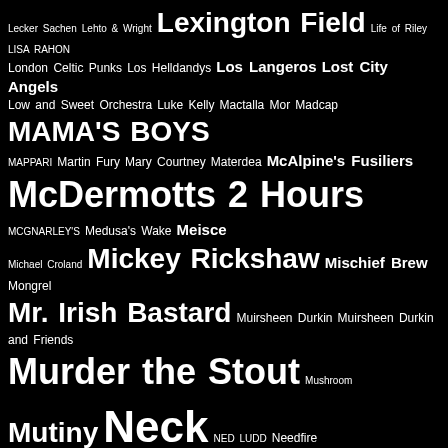Word cloud of artist/band names including: Lecker Sachen Lehto & Wright Lexington Field Life of Riley LISA RAHON London Celtic Punks Los Helldandys Los Langeros Lost City Angels Low and Sweet Orchestra Luke Kelly Mactalla Mor Madcap MAMA'S BOYS MAPPARI Martin Fury Mary Courtney Materdea McAlpine's Fusiliers McDermotts 2 Hours MCGNARLEY'S Medusa's Wake Meisce Michael Croland Mickey Rickshaw Mischief Brew Mongrel Mr. Irish Bastard Muirsheen Durkin Muirsheen Durkin and Friends Murder the Stout Mushroom Mutiny Neck NED LUDD Needfire New Model Army Nick Burbridge Nick Burbridge & Tim Cotterell Nivola No Smoking Orchestra Novi Sad Oi! n'Ast ONE MAN ARMY Oysterband Paddy and The Rats Paddy Goes to Holyhead Parkington Sister Pat Chessell Pat McGuire Pat McManus Band Paul Walshe Paul Weller PERFECT Pete Berwick Philip Chevron Piirpauke Pint Killers Pipes 'n' Pints PoguestrA Polkaholics Polkaholix Pressgang Pronghorn Prydein Pól Mac Adaim RantMusic REVEREND GLASSEY RICK BARTON Ricky Warwick RIVER CITY RADICALS Roaring Jack Rocket Rocktopus Ronan MacManus Ronan O'Snodaigh Rory K Rum Rebellion Rum Runner Runnin' Riot Runrig Saints Bushmill's Choir Sammy Horner Scary Crick Scott M.X. Turner & The Devil's Advocates Screaming Orphans Scruffy Wallace Scurvy Bastards Seanchai and the Unity Squad Seanchai and the Unity Squad Seven Nations Shadows of Boston Shambolics SHANE MACGOWAN